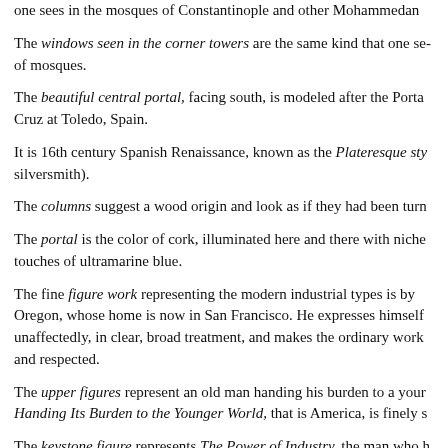one sees in the mosques of Constantinople and other Mohammedan
The windows seen in the corner towers are the same kind that one sees of mosques.
The beautiful central portal, facing south, is modeled after the Porta Cruz at Toledo, Spain.
It is 16th century Spanish Renaissance, known as the Plateresque style silversmith).
The columns suggest a wood origin and look as if they had been turn
The portal is the color of cork, illuminated here and there with niche touches of ultramarine blue.
The fine figure work representing the modern industrial types is by Oregon, whose home is now in San Francisco. He expresses himself unaffectedly, in clear, broad treatment, and makes the ordinary work and respected.
The upper figures represent an old man handing his burden to a younger. Handing Its Burden to the Younger World, that is America, is finely s
The keystone figure represents The Power of Industry, the man who h